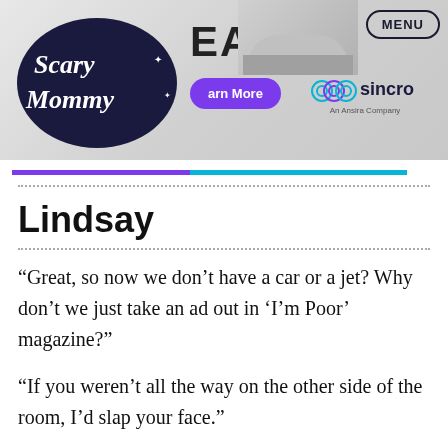[Figure (screenshot): Scary Mommy website header banner with logo, LEAD. headline, Learn More button, Sincro logo, MENU button, and purple-to-cyan color bar]
Lindsay
“Great, so now we don’t have a car or a jet? Why don’t we just take an ad out in ‘I’m Poor’ magazine?”
“If you weren’t all the way on the other side of the room, I’d slap your face.”
“It’s vodka. It goes bad one it’s opened.”